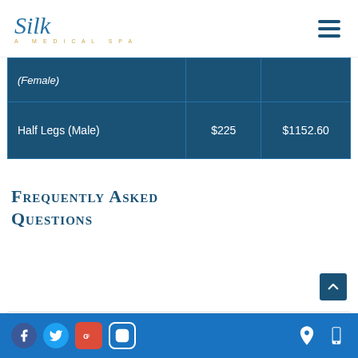Silk A Medical Spa
|  |  |  |
| --- | --- | --- |
| (Female) |  |  |
| Half Legs (Male) | $225 | $1152.60 |
Frequently Asked Questions
Social media icons: Facebook, Twitter, Google+, Instagram | Location icon | Mobile icon